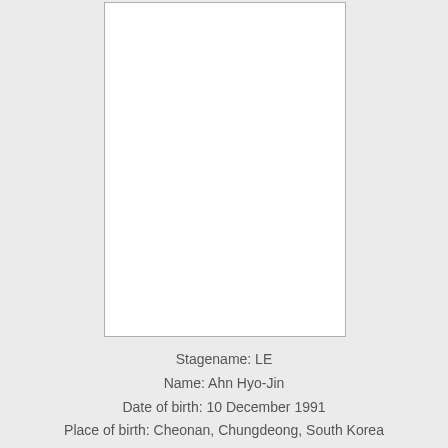[Figure (photo): Empty white photo placeholder box with light gray border]
Stagename: LE
Name: Ahn Hyo-Jin
Date of birth: 10 December 1991
Place of birth: Cheonan, Chungdeong, South Korea